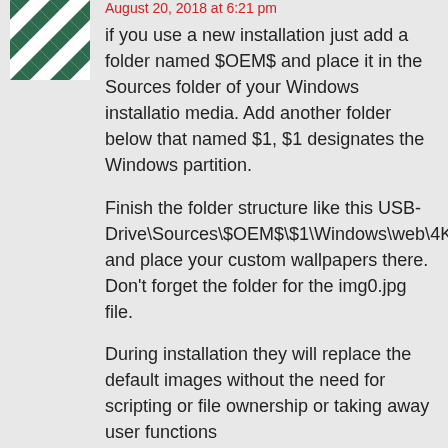[Figure (illustration): Green and white geometric quilt-pattern avatar logo]
August 20, 2018 at 6:21 pm
if you use a new installation just add a folder named $OEM$ and place it in the Sources folder of your Windows installatio media. Add another folder below that named $1, $1 designates the Windows partition.
Finish the folder structure like this USB-Drive\Sources\$OEM$\$1\Windows\web\4K\Wallpaper\Windows and place your custom wallpapers there. Don’t forget the folder for the img0.jpg file.
During installation they will replace the default images without the need for scripting or file ownership or taking away user functions
Reply